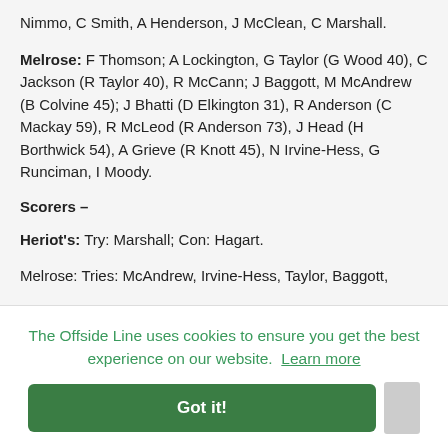Nimmo, C Smith, A Henderson, J McClean, C Marshall.
Melrose: F Thomson; A Lockington, G Taylor (G Wood 40), C Jackson (R Taylor 40), R McCann; J Baggott, M McAndrew (B Colvine 45); J Bhatti (D Elkington 31), R Anderson (C Mackay 59), R McLeod (R Anderson 73), J Head (H Borthwick 54), A Grieve (R Knott 45), N Irvine-Hess, G Runciman, I Moody.
Scorers –
Heriot's: Try: Marshall; Con: Hagart.
Melrose: Tries: McAndrew, Irvine-Hess, Taylor, Baggott,
The Offside Line uses cookies to ensure you get the best experience on our website. Learn more
Got it!